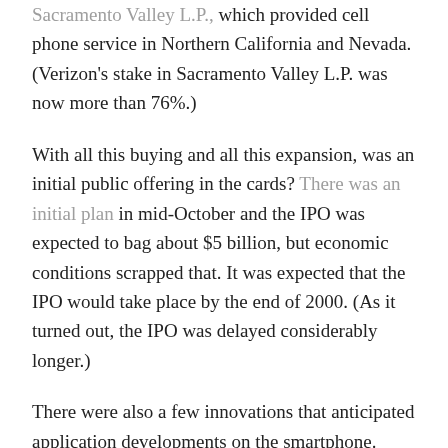Sacramento Valley L.P., which provided cell phone service in Northern California and Nevada. (Verizon's stake in Sacramento Valley L.P. was now more than 76%.)
With all this buying and all this expansion, was an initial public offering in the cards? There was an initial plan in mid-October and the IPO was expected to bag about $5 billion, but economic conditions scrapped that. It was expected that the IPO would take place by the end of 2000. (As it turned out, the IPO was delayed considerably longer.)
There were also a few innovations that anticipated application developments on the smartphone. Years before Snaptell, Verizon teamed up with BarPoint, where Verizon customers could punch a bar code into their phone and determine how much it was at an